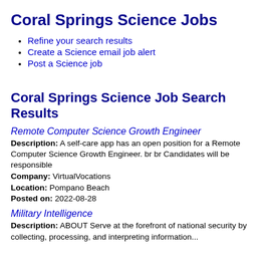Coral Springs Science Jobs
Refine your search results
Create a Science email job alert
Post a Science job
Coral Springs Science Job Search Results
Remote Computer Science Growth Engineer
Description: A self-care app has an open position for a Remote Computer Science Growth Engineer. br br Candidates will be responsible
Company: VirtualVocations
Location: Pompano Beach
Posted on: 2022-08-28
Military Intelligence
Description: ABOUT Serve at the forefront of national security by collecting, processing, and interpreting information...